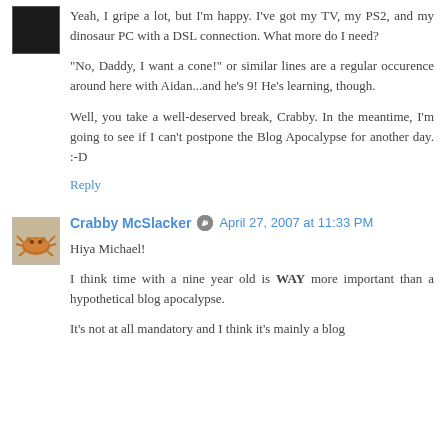Yeah, I gripe a lot, but I'm happy. I've got my TV, my PS2, and my dinosaur PC with a DSL connection. What more do I need?
"No, Daddy, I want a cone!" or similar lines are a regular occurence around here with Aidan...and he's 9! He's learning, though.
Well, you take a well-deserved break, Crabby. In the meantime, I'm going to see if I can't postpone the Blog Apocalypse for another day. :-D
Reply
Crabby McSlacker  April 27, 2007 at 11:33 PM
Hiya Michael!
I think time with a nine year old is WAY more important than a hypothetical blog apocalypse.
It's not at all mandatory and I think it's mainly a blog